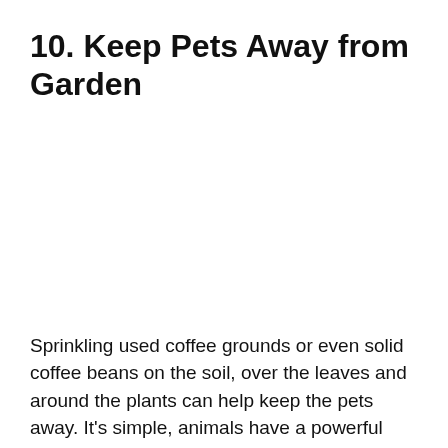10. Keep Pets Away from Garden
Sprinkling used coffee grounds or even solid coffee beans on the soil, over the leaves and around the plants can help keep the pets away. It’s simple, animals have a powerful